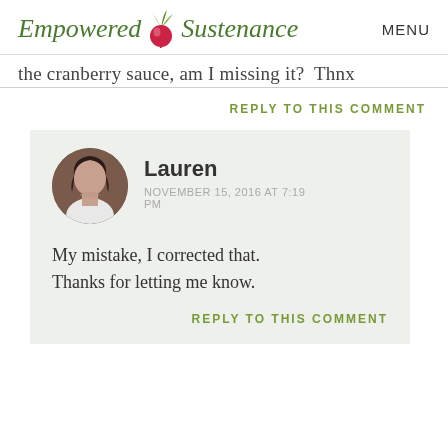Empowered Sustenance  MENU
the cranberry sauce, am I missing it?  Thnx
REPLY TO THIS COMMENT
Lauren
NOVEMBER 15, 2016 AT 7:19 PM
My mistake, I corrected that. Thanks for letting me know.
REPLY TO THIS COMMENT